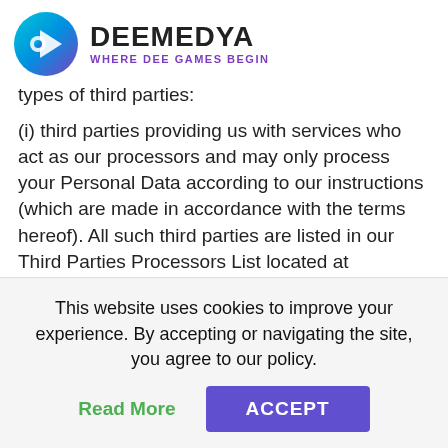[Figure (logo): Deemedya logo with circular icon and text 'DEEMEDYA WHERE DEE GAMES BEGIN']
types of third parties:
(i) third parties providing us with services who act as our processors and may only process your Personal Data according to our instructions (which are made in accordance with the terms hereof). All such third parties are listed in our Third Parties Processors List located at https://www.deemedya.com/processors/ We remain responsible for any Personal Data processing done by such third parties Service Provider on our behalf not in accordance with the terms hereof, except for events outside of its reasonable control and except for such Third Party Service
This website uses cookies to improve your experience. By accepting or navigating the site, you agree to our policy.
Read More
ACCEPT